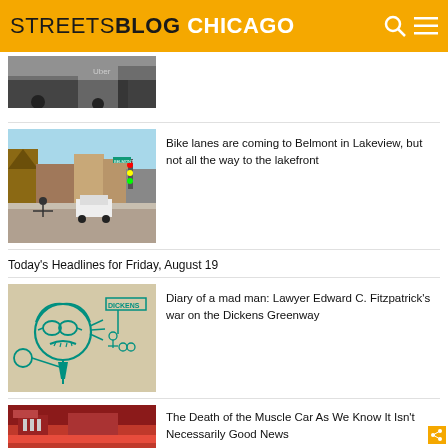STREETSBLOG CHICAGO
[Figure (photo): Partial thumbnail of cars/Uber scene, top of page cut off]
[Figure (photo): Street intersection in Lakeview with cyclists crossing]
Bike lanes are coming to Belmont in Lakeview, but not all the way to the lakefront
Today's Headlines for Friday, August 19
[Figure (illustration): Cartoon illustration of a man with glasses and tie looking angry, with Dickens sign and cyclists in background]
Diary of a mad man: Lawyer Edward C. Fitzpatrick's war on the Dickens Greenway
[Figure (photo): Partial thumbnail of a red muscle car, bottom of page]
The Death of the Muscle Car As We Know It Isn't Necessarily Good News